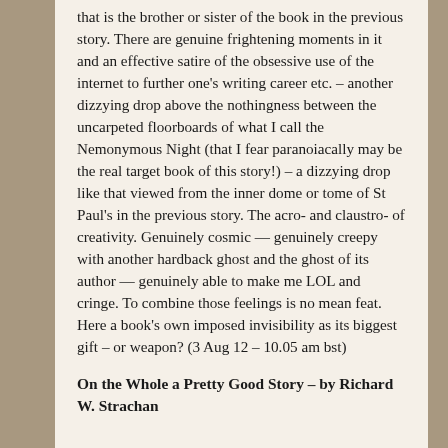that is the brother or sister of the book in the previous story. There are genuine frightening moments in it and an effective satire of the obsessive use of the internet to further one's writing career etc. – another dizzying drop above the nothingness between the uncarpeted floorboards of what I call the Nemonymous Night (that I fear paranoiacally may be the real target book of this story!) – a dizzying drop like that viewed from the inner dome or tome of St Paul's in the previous story. The acro- and claustro- of creativity. Genuinely cosmic — genuinely creepy with another hardback ghost and the ghost of its author — genuinely able to make me LOL and cringe. To combine those feelings is no mean feat. Here a book's own imposed invisibility as its biggest gift – or weapon? (3 Aug 12 – 10.05 am bst)
On the Whole a Pretty Good Story – by Richard W. Strachan